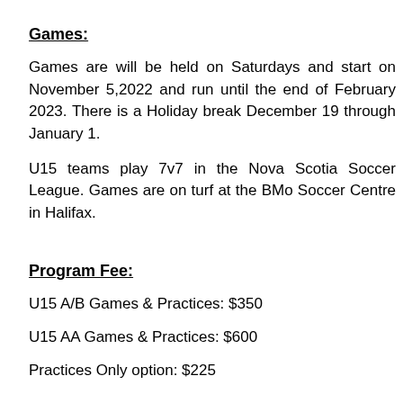Games:
Games are will be held on Saturdays and start on November 5,2022 and run until the end of February 2023. There is a Holiday break December 19 through January 1.
U15 teams play 7v7 in the Nova Scotia Soccer League. Games are on turf at the BMo Soccer Centre in Halifax.
Program Fee:
U15 A/B Games & Practices: $350
U15 AA Games & Practices: $600
Practices Only option: $225